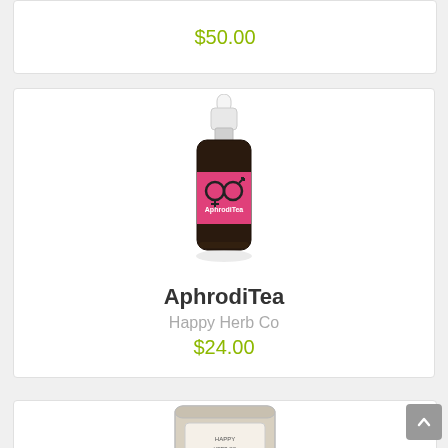$50.00
[Figure (photo): A small dark bottle of AphrodiTea herbal product with a pink label showing the AphrodiTea brand logo and male/female gender symbols, with a white dropper cap on top.]
AphrodiTea
Happy Herb Co
$24.00
[Figure (photo): Partial view of another product — appears to be a clear/silver package of a powder product, partially visible at the bottom of the page.]